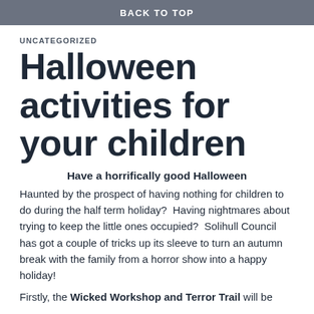BACK TO TOP
UNCATEGORIZED
Halloween activities for your children
Have a horrifically good Halloween
Haunted by the prospect of having nothing for children to do during the half term holiday?  Having nightmares about trying to keep the little ones occupied?  Solihull Council has got a couple of tricks up its sleeve to turn an autumn break with the family from a horror show into a happy holiday!
Firstly, the Wicked Workshop and Terror Trail will be